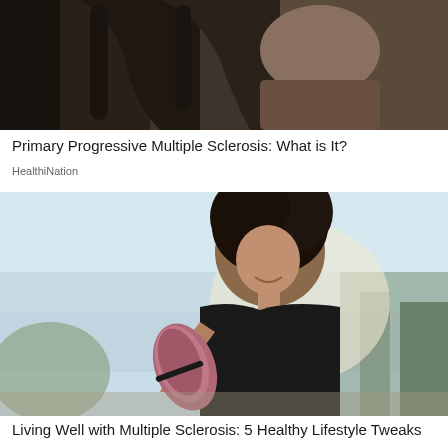[Figure (photo): Partial photo of a person in or near a wheelchair, dark background with chair visible at top]
Primary Progressive Multiple Sclerosis: What is It?
HealthiNation
[Figure (photo): Smiling woman with curly hair holding a rolled yoga mat, wearing a black tank top, outdoors with bright sky background]
Living Well with Multiple Sclerosis: 5 Healthy Lifestyle Tweaks